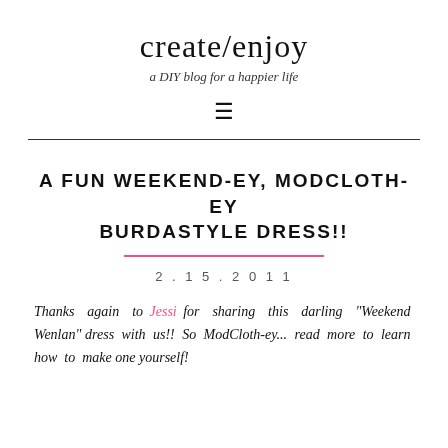create/enjoy
a DIY blog for a happier life
[Figure (other): Hamburger menu icon (three horizontal lines)]
A FUN WEEKEND-EY, MODCLOTH-EY BURDASTYLE DRESS!!
2.15.2011
Thanks again to Jessi for sharing this darling "Weekend Wenlan" dress with us!! So ModCloth-ey... read more to learn how to make one yourself!